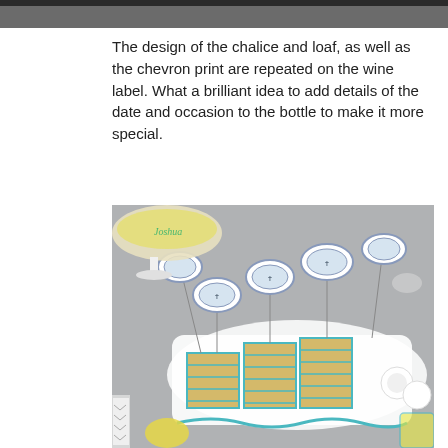[Figure (photo): Partial top strip of an image, cropped at the top of the page]
The design of the chalice and loaf, as well as the chevron print are repeated on the wine label. What a brilliant idea to add details of the date and occasion to the bottle to make it more special.
[Figure (photo): Photo of rice crispy treats decorated with blue chevron pattern on a white rectangular platter, topped with oval paper toppers featuring chalice and loaf designs. A cake stand with 'Joshua' text visible in background, small round decorated cookies visible at right.]